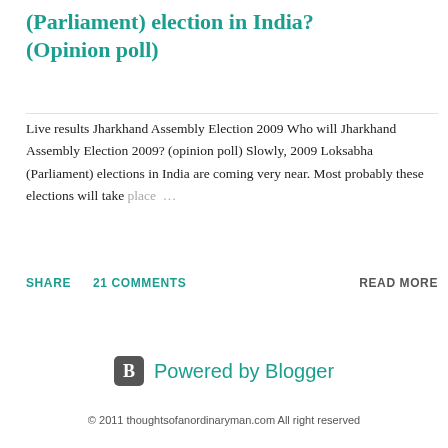(Parliament) election in India? (Opinion poll)
Live results Jharkhand Assembly Election 2009 Who will Jharkhand Assembly Election 2009? (opinion poll) Slowly, 2009 Loksabha (Parliament) elections in India are coming very near. Most probably these elections will take place ...
SHARE   21 COMMENTS   READ MORE
[Figure (logo): Powered by Blogger logo with orange B icon and teal text]
© 2011 thoughtsofanordinaryman.com All right reserved